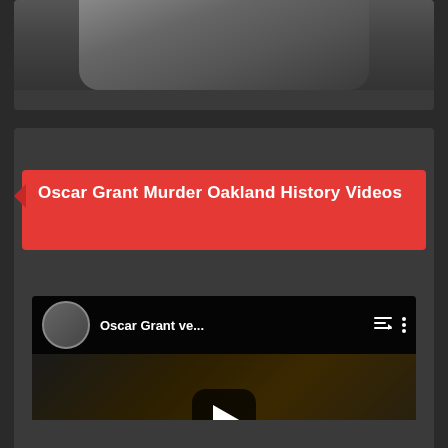[Figure (photo): Top card showing a partially visible person's face/upper body from a video or image, dark background]
Oscar Grant Murder Oakland History Videos
[Figure (screenshot): YouTube video thumbnail showing 'Oscar Grant ve...' with a news anchor avatar, play button overlay, and night street scene with cars in background]